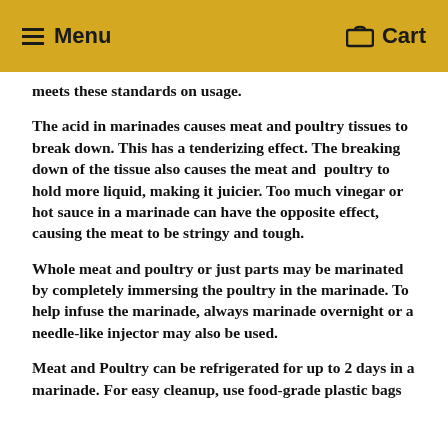Menu  Cart
meets these standards on usage.
The acid in marinades causes meat and poultry tissues to break down. This has a tenderizing effect. The breaking down of the tissue also causes the meat and poultry to hold more liquid, making it juicier. Too much vinegar or hot sauce in a marinade can have the opposite effect, causing the meat to be stringy and tough.
Whole meat and poultry or just parts may be marinated by completely immersing the poultry in the marinade. To help infuse the marinade, always marinade overnight or a needle-like injector may also be used.
Meat and Poultry can be refrigerated for up to 2 days in a marinade. For easy cleanup, use food-grade plastic bags